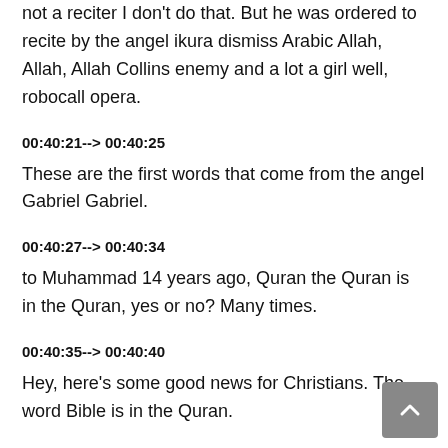not a reciter I don't do that. But he was ordered to recite by the angel ikura dismiss Arabic Allah, Allah, Allah Collins enemy and a lot a girl well, robocall opera.
00:40:21--> 00:40:25
These are the first words that come from the angel Gabriel Gabriel.
00:40:27--> 00:40:34
to Muhammad 14 years ago, Quran the Quran is in the Quran, yes or no? Many times.
00:40:35--> 00:40:40
Hey, here's some good news for Christians. The word Bible is in the Quran.